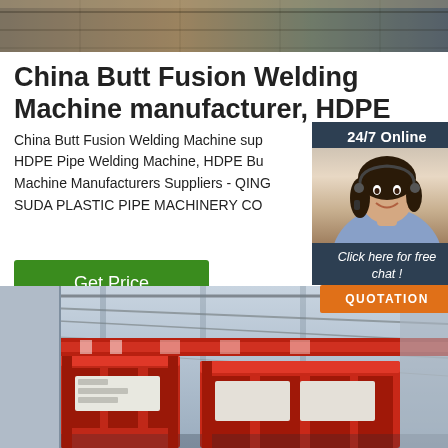[Figure (photo): Top banner photo showing industrial/warehouse setting with racking or structural steel elements]
China Butt Fusion Welding Machine manufacturer, HDPE
China Butt Fusion Welding Machine sup HDPE Pipe Welding Machine, HDPE Bu Machine Manufacturers Suppliers - QING SUDA PLASTIC PIPE MACHINERY CO
[Figure (photo): 24/7 Online chat widget with a customer service agent wearing a headset, and a 'Click here for free chat!' prompt with QUOTATION button]
[Figure (photo): Get Price green button]
[Figure (photo): Bottom photo of industrial factory interior showing red and white large machinery/crane equipment inside a steel-framed warehouse]